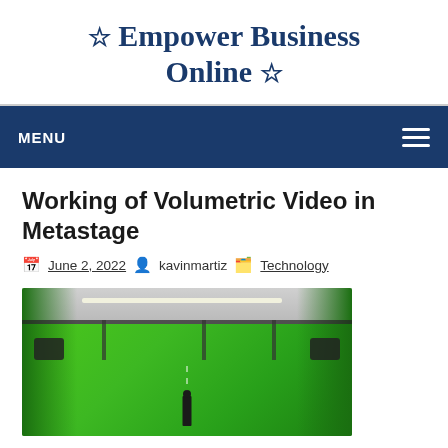☆ Empower Business Online ☆
MENU
Working of Volumetric Video in Metastage
June 2, 2022  kavinmartiz  Technology
[Figure (photo): A green screen studio interior with lighting rigs, cameras, and a person standing in the center against a bright green background with overhead lights and black rigging equipment.]